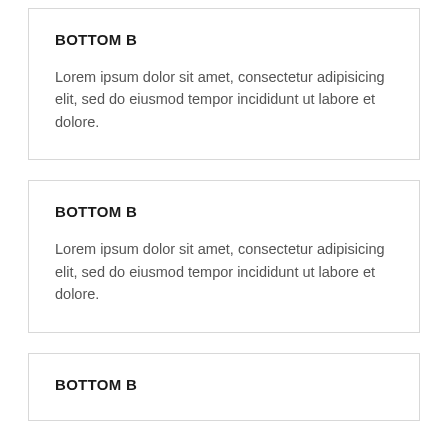BOTTOM B
Lorem ipsum dolor sit amet, consectetur adipisicing elit, sed do eiusmod tempor incididunt ut labore et dolore.
BOTTOM B
Lorem ipsum dolor sit amet, consectetur adipisicing elit, sed do eiusmod tempor incididunt ut labore et dolore.
BOTTOM B